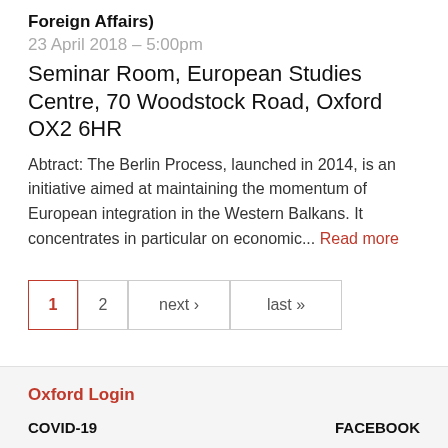Foreign Affairs)
23 April 2018 – 5:00pm
Seminar Room, European Studies Centre, 70 Woodstock Road, Oxford OX2 6HR
Abtract: The Berlin Process, launched in 2014, is an initiative aimed at maintaining the momentum of European integration in the Western Balkans. It concentrates in particular on economic... Read more
1  2  next ›  last »
Oxford Login
COVID-19
FACEBOOK